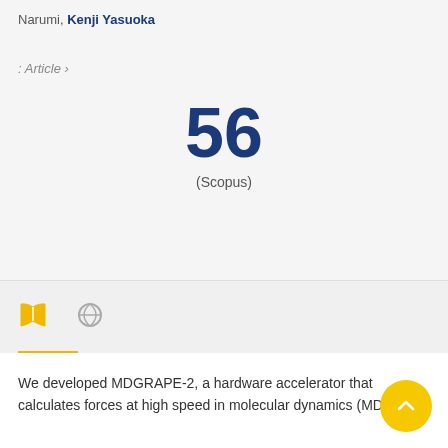Narumi, Kenji Yasuoka
: Article ›
56
(Scopus)
We developed MDGRAPE-2, a hardware accelerator that calculates forces at high speed in molecular dynamics (MD)